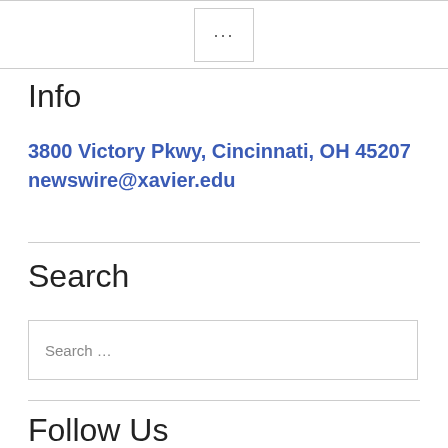[Figure (other): Menu button with three dots (ellipsis) icon in a bordered box]
Info
3800 Victory Pkwy, Cincinnati, OH 45207
newswire@xavier.edu
Search
Search …
Follow Us